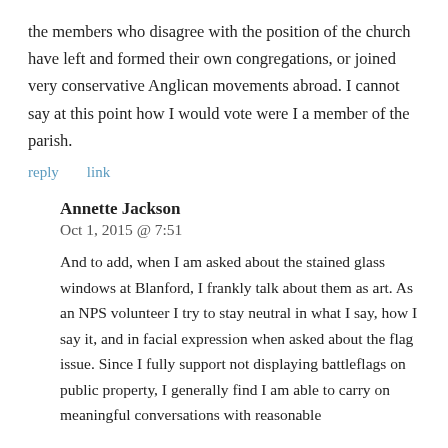the members who disagree with the position of the church have left and formed their own congregations, or joined very conservative Anglican movements abroad. I cannot say at this point how I would vote were I a member of the parish.
reply   link
Annette Jackson
Oct 1, 2015 @ 7:51
And to add, when I am asked about the stained glass windows at Blanford, I frankly talk about them as art. As an NPS volunteer I try to stay neutral in what I say, how I say it, and in facial expression when asked about the flag issue. Since I fully support not displaying battleflags on public property, I generally find I am able to carry on meaningful conversations with reasonable